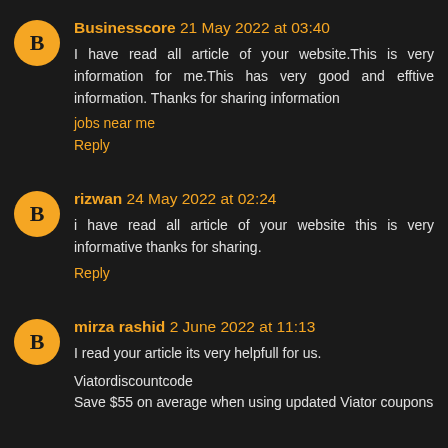Businesscore 21 May 2022 at 03:40
I have read all article of your website.This is very information for me.This has very good and efftive information. Thanks for sharing information
jobs near me
Reply
rizwan 24 May 2022 at 02:24
i have read all article of your website this is very informative thanks for sharing.
Reply
mirza rashid 2 June 2022 at 11:13
I read your article its very helpfull for us.
Viatordiscountcode
Save $55 on average when using updated Viator coupons